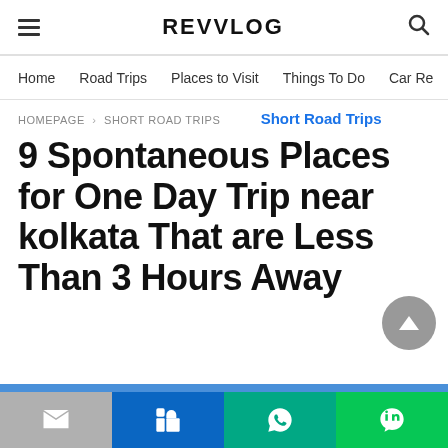REVVLOG
Home  Road Trips  Places to Visit  Things To Do  Car Re
HOMEPAGE › SHORT ROAD TRIPS
Short Road Trips
9 Spontaneous Places for One Day Trip near kolkata That are Less Than 3 Hours Away